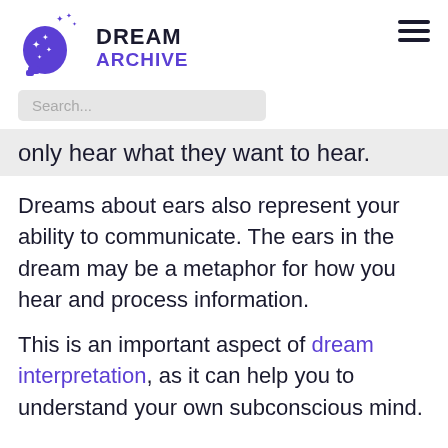[Figure (logo): Dream Archive logo: purple human head silhouette with sparkle stars inside, next to bold text DREAM ARCHIVE in dark/purple]
Search...
only hear what they want to hear.
Dreams about ears also represent your ability to communicate. The ears in the dream may be a metaphor for how you hear and process information.
This is an important aspect of dream interpretation, as it can help you to understand your own subconscious mind.